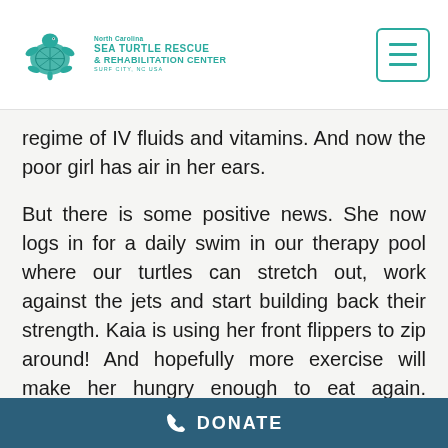North Carolina Sea Turtle Rescue & Rehabilitation Center, Surf City, NC USA
regime of IV fluids and vitamins. And now the poor girl has air in her ears.
But there is some positive news. She now logs in for a daily swim in our therapy pool where our turtles can stretch out, work against the jets and start building back their strength. Kaia is using her front flippers to zip around! And hopefully more exercise will make her hungry enough to eat again. Although she won't be going home anytime
DONATE